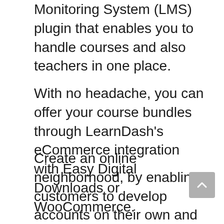Monitoring System (LMS) plugin that enables you to handle courses and also teachers in one place.
With no headache, you can offer your course bundles through LearnDash's eCommerce integration with Easy Digital Downloads or WooCommerce.
Create an online neighborhood, by enabling customers to develop accounts on their own and connect on the system. LearnDash additionally has a choice of producing exclusive teams where members can access just specific information to ensure keep points safe and safe and secure from prying eyes.